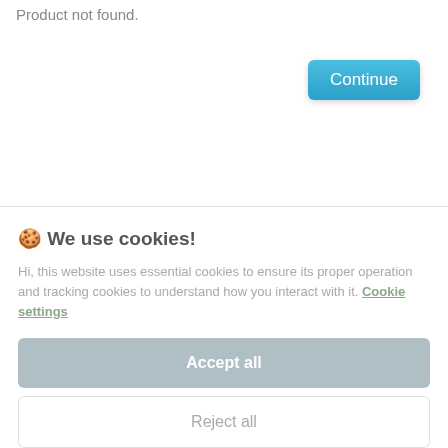Product not found.
Continue
🍪 We use cookies!
Hi, this website uses essential cookies to ensure its proper operation and tracking cookies to understand how you interact with it. Cookie settings
Accept all
Reject all